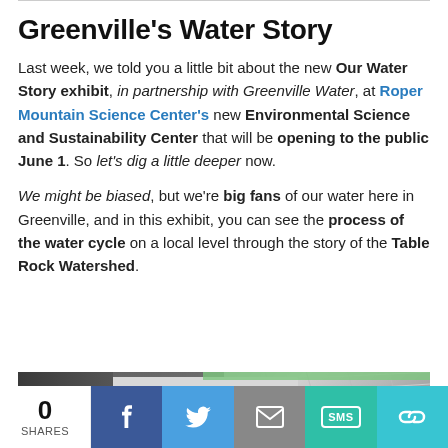Greenville's Water Story
Last week, we told you a little bit about the new Our Water Story exhibit, in partnership with Greenville Water, at Roper Mountain Science Center's new Environmental Science and Sustainability Center that will be opening to the public June 1. So let's dig a little deeper now.
We might be biased, but we're big fans of our water here in Greenville, and in this exhibit, you can see the process of the water cycle on a local level through the story of the Table Rock Watershed.
[Figure (photo): Photo of the Our Water Story exhibit sign at Roper Mountain Science Center, showing a large display panel with the text 'Our Wate...' visible, in a modern building interior with ceiling grid visible]
0 SHARES | Facebook | Twitter | Email | SMS | Link